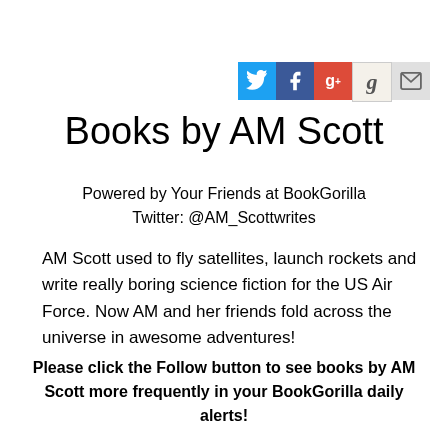[Figure (other): Social media icon buttons: Twitter (blue bird), Facebook (blue f), Google+ (red g+), Goodreads (beige g), Email (gray envelope)]
Books by AM Scott
Powered by Your Friends at BookGorilla
Twitter: @AM_Scottwrites
AM Scott used to fly satellites, launch rockets and write really boring science fiction for the US Air Force. Now AM and her friends fold across the universe in awesome adventures!
Please click the Follow button to see books by AM Scott more frequently in your BookGorilla daily alerts!